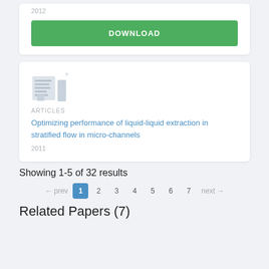2012
DOWNLOAD
[Figure (illustration): Document/article icon with a plus symbol, light gray style]
ARTICLES
Optimizing performance of liquid-liquid extraction in stratified flow in micro-channels
2011
Showing 1-5 of 32 results
← prev  1  2  3  4  5  6  7  next →
Related Papers (7)